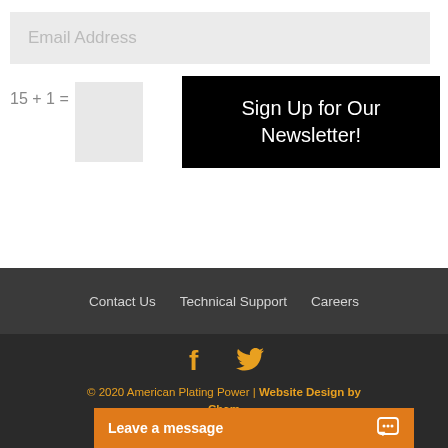Email Address
15 + 1 =
Sign Up for Our Newsletter!
Contact Us   Technical Support   Careers
[Figure (other): Social media icons: Facebook and Twitter in orange/gold color]
© 2020 American Plating Power | Website Design by Champ...
Leave a message